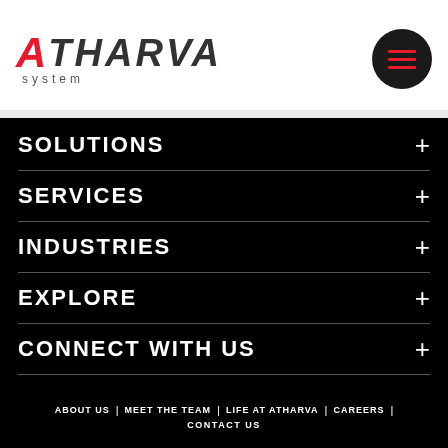[Figure (logo): Atharva System logo with red stylized A and dark text, plus hamburger menu button in dark circle]
SOLUTIONS
SERVICES
INDUSTRIES
EXPLORE
CONNECT WITH US
ABOUT US | MEET THE TEAM | LIFE AT ATHARVA | CAREERS | CONTACT US